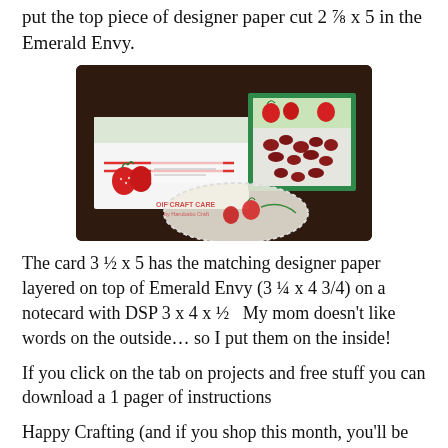put the top piece of designer paper cut 2 ⅞ x 5 in the Emerald Envy.
[Figure (photo): Photo of handmade strawberry-themed craft cards and a treat bag with red candies, displayed on a dark wooden surface. Watermark reads 'OIF CRAFT CARE by Harubabu Craft'.]
The card 3 ½ x 5 has the matching designer paper layered on top of Emerald Envy (3 ¼ x 4 3/4) on a notecard with DSP 3 x 4 x ½   My mom doesn't like words on the outside… so I put them on the inside!
If you click on the tab on projects and free stuff you can download a 1 pager of instructions
Happy Crafting (and if you shop this month, you'll be